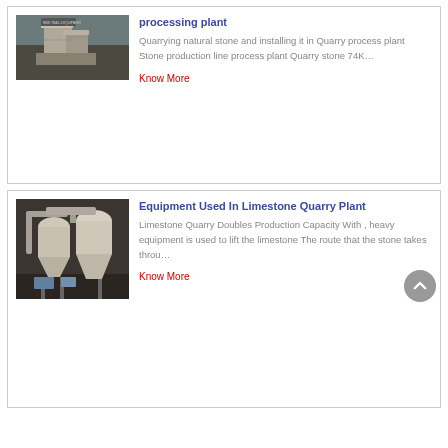[Figure (photo): Photo of a quarry stone processing plant, concrete structures in an open excavation area]
processing plant
Quarrying natural stone and installing it in Quarry process plant Stone production line process plant Quarry stone 74K…
Know More
[Figure (photo): Photo of industrial limestone quarry plant equipment with large white cyclone dust collectors and piping]
Equipment Used In Limestone Quarry Plant
Limestone Quarry Doubles Production Capacity With , heavy equipment is used to lift the limestone The route that the stone takes throu…
Know More